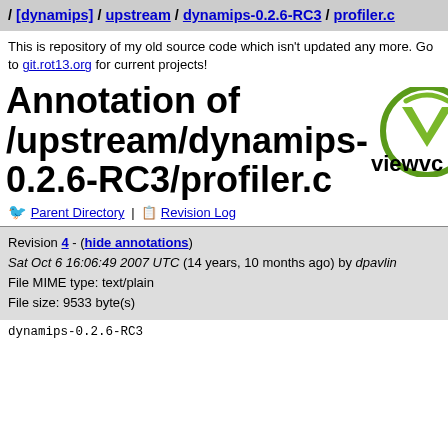/ [dynamips] / upstream / dynamips-0.2.6-RC3 / profiler.c
This is repository of my old source code which isn't updated any more. Go to git.rot13.org for current projects!
Annotation of /upstream/dynamips-0.2.6-RC3/profiler.c
[Figure (logo): ViewVC logo — green V-shape in a circle with 'viewvc' text]
Parent Directory | Revision Log
Revision 4 - (hide annotations)
Sat Oct 6 16:06:49 2007 UTC (14 years, 10 months ago) by dpavlin
File MIME type: text/plain
File size: 9533 byte(s)
dynamips-0.2.6-RC3